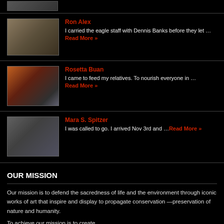[Figure (photo): Partial top image strip showing a person, cropped at top of page]
Ron Alex
I carried the eagle staff with Dennis Banks before they let …Read More »
[Figure (photo): Photo of a person in a hat looking upward outdoors]
Rosetta Buan
I came to feed my relatives. To nourish everyone in … Read More »
[Figure (photo): Photo of a smiling person with a beanie hat against a sunset background]
Mara S. Spitzer
I  was called to go. I arrived Nov 3rd and …Read More »
[Figure (photo): Photo of a person in a purple hat outdoors]
OUR MISSION
Our mission is to defend the sacredness of life and the environment through iconic works of art that inspire and display to propagate conservation —preservation of nature and humanity.
To achieve our mission is to create...